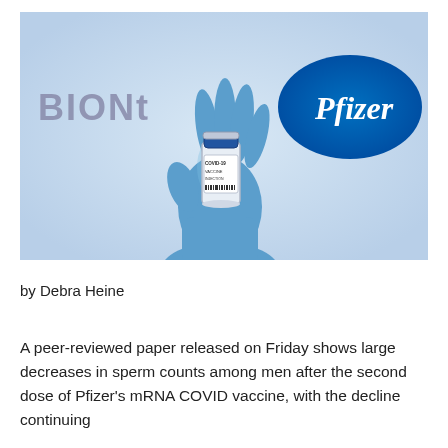[Figure (photo): A gloved hand in a blue latex glove holding a small vial labeled COVID-19 Vaccine, with BioNTech and Pfizer logos visible in the background on a light blue backdrop.]
by Debra Heine
A peer-reviewed paper released on Friday shows large decreases in sperm counts among men after the second dose of Pfizer's mRNA COVID vaccine, with the decline continuing